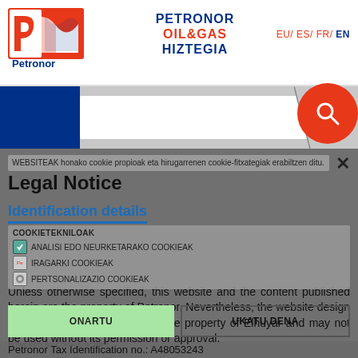[Figure (logo): Petronor logo: red and white P/wave symbol with 'Petronor' text below]
PETRONOR OIL&GAS HIZTEGIA
EU/ ES/ FR/ EN
[Figure (other): Search bar with blue left box, white input field, and red circular search button with magnifying glass icon]
WEBSITEAK honako cookie propioak eta hirugarrenen cookie-fitxategiak erabiltzen ditu.
Legal Notice
Identification details
COOKIETEKNILOAK
ANALISI EDO NEURKETARAKO COOKIEAK
IRAGARKI COOKIEAK
PERTSONALIZAZIO COOKIEAK
Unless otherwise specified, this website and the content published herein are the property of Petronor. Nevertheless, the website design and graphical appearance are the property of Elhuyar and may not be used without its permission or approval.
ONARTU
UKATU DENA
POWERED BY COOKIE-SCRIPT
Petronor Tax Identification no.: A48053243